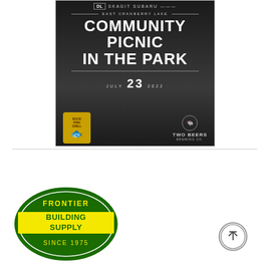[Figure (infographic): East Cranberry Lake Community Picnic in the Park advertisement. Black and white vintage photo background. Shows 'SKAGIT SUBARU' logo at top, 'EAST CRANBERRY LAKE' label, large text 'COMMUNITY PICNIC IN THE PARK', date 'JULY 23 2022', Rock Fish Grill logo bottom-left, Two Beers Brewing Co. logo bottom-right.]
[Figure (logo): Frontier Building Supply logo — oval green border, yellow/green text reading 'FRONTIER BUILDING SUPPLY SINCE 1975']